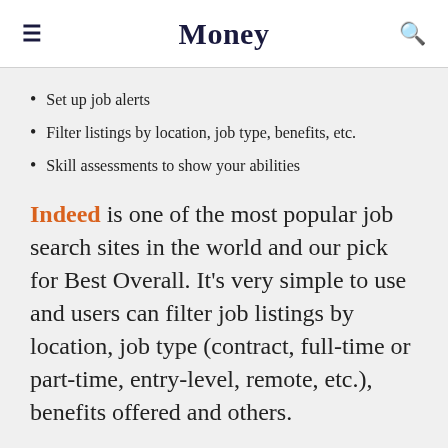Money
Set up job alerts
Filter listings by location, job type, benefits, etc.
Skill assessments to show your abilities
Indeed is one of the most popular job search sites in the world and our pick for Best Overall. It’s very simple to use and users can filter job listings by location, job type (contract, full-time or part-time, entry-level, remote, etc.), benefits offered and others.
If you create an account, you can save jobs that interest you, set up job alerts, and